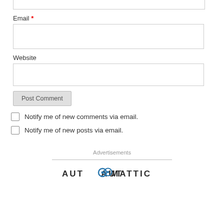Email *
Website
Post Comment
Notify me of new comments via email.
Notify me of new posts via email.
Advertisements
[Figure (logo): Automattic logo with stylized 'O' in the word AUTOMATTIC]